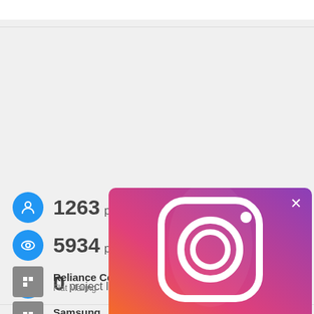1263 profile views
5934 project views
0 project likes
Leo Burnett — Advertising & Media
Reliance Commo — Flat Mailing
Samsung — Home Appliances
Procter & Gamb
[Figure (screenshot): Instagram follow overlay with gradient background (orange to purple), Instagram logo icon, X close button, and text 'Follow Adeevee on Instagram']